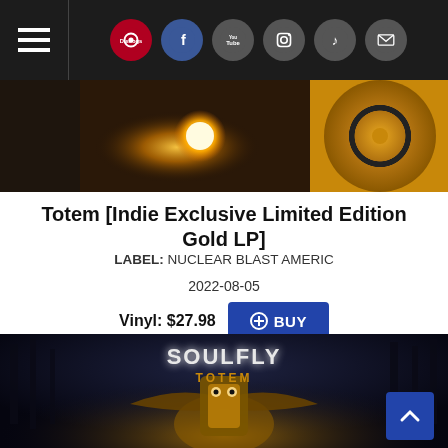Navigation bar with hamburger menu and social icons: Discogs, Facebook, YouTube, Instagram, TikTok, Mail
[Figure (photo): Top portion of album art showing golden glowing orb with dark mystical background, and gold vinyl record visible on right side]
Totem [Indie Exclusive Limited Edition Gold LP]
LABEL: NUCLEAR BLAST AMERIC
2022-08-05
Vinyl: $27.98 BUY
[Figure (photo): Soulfly Totem album artwork showing band name SOULFLY and TOTEM text above a dark fantasy illustration of an owl-like totem figure with ornate golden armor/body surrounded by dark trees and cats]